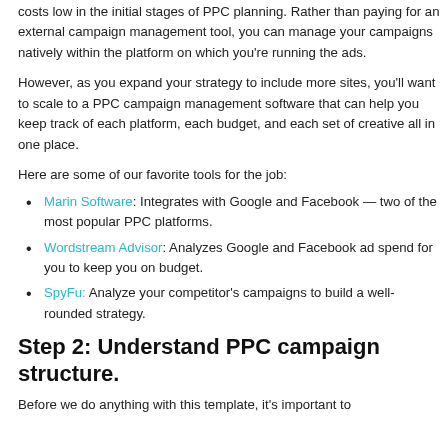costs low in the initial stages of PPC planning. Rather than paying for an external campaign management tool, you can manage your campaigns natively within the platform on which you're running the ads.
However, as you expand your strategy to include more sites, you'll want to scale to a PPC campaign management software that can help you keep track of each platform, each budget, and each set of creative all in one place.
Here are some of our favorite tools for the job:
Marin Software: Integrates with Google and Facebook — two of the most popular PPC platforms.
Wordstream Advisor: Analyzes Google and Facebook ad spend for you to keep you on budget.
SpyFu: Analyze your competitor's campaigns to build a well-rounded strategy.
Step 2: Understand PPC campaign structure.
Before we do anything with this template, it's important to